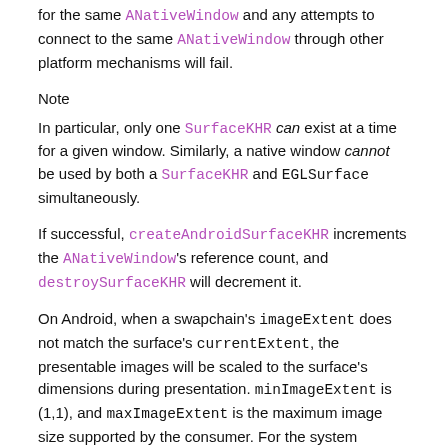for the same ANativeWindow and any attempts to connect to the same ANativeWindow through other platform mechanisms will fail.
Note
In particular, only one SurfaceKHR can exist at a time for a given window. Similarly, a native window cannot be used by both a SurfaceKHR and EGLSurface simultaneously.
If successful, createAndroidSurfaceKHR increments the ANativeWindow's reference count, and destroySurfaceKHR will decrement it.
On Android, when a swapchain's imageExtent does not match the surface's currentExtent, the presentable images will be scaled to the surface's dimensions during presentation. minImageExtent is (1,1), and maxImageExtent is the maximum image size supported by the consumer. For the system compositor, currentExtent is the window size (i.e. the consumer's preferred size).
Valid Usage (Implicit)